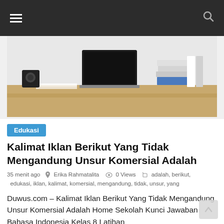≡   Q
[Figure (photo): A wooden desk with a laptop, stacks of books, printed papers, a speaker, and office supplies arranged neatly on it.]
Edukasi
Kalimat Iklan Berikut Yang Tidak Mengandung Unsur Komersial Adalah
35 menit ago  Erika Rahmatalita  0 Views  adalah, berikut, edukasi, iklan, kalimat, komersial, mengandung, tidak, unsur, yang
Duwus.com – Kalimat Iklan Berikut Yang Tidak Mengandung Unsur Komersial Adalah Home Sekolah Kunci Jawaban Bahasa Indonesia Kelas 8 Latihan